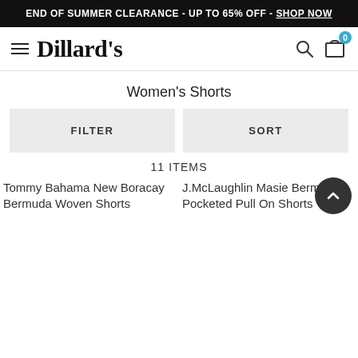END OF SUMMER CLEARANCE - UP TO 65% OFF - SHOP NOW
[Figure (logo): Dillard's logo with hamburger menu, search icon, and shopping bag with badge showing 0]
Women's Shorts
FILTER
SORT
11 ITEMS
Tommy Bahama New Boracay Bermuda Woven Shorts
J.McLaughlin Masie Bermuda Pocketed Pull On Shorts